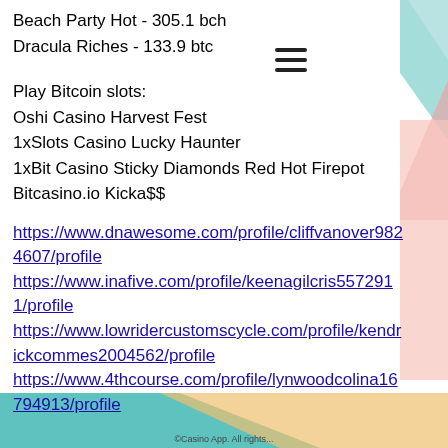Beach Party Hot - 305.1 bch
Dracula Riches - 133.9 btc
Play Bitcoin slots:
Oshi Casino Harvest Fest
1xSlots Casino Lucky Haunter
1xBit Casino Sticky Diamonds Red Hot Firepot
Bitcasino.io Kicka$$
https://www.dnawesome.com/profile/cliffvanover9824607/profile
https://www.inafive.com/profile/keenagilcris5572911/profile
https://www.lowridercustomscycle.com/profile/kendrickcommes2004562/profile
https://www.4thcourse.com/profile/lynwoodcolina16794913/profile
©Casino App. All rights...